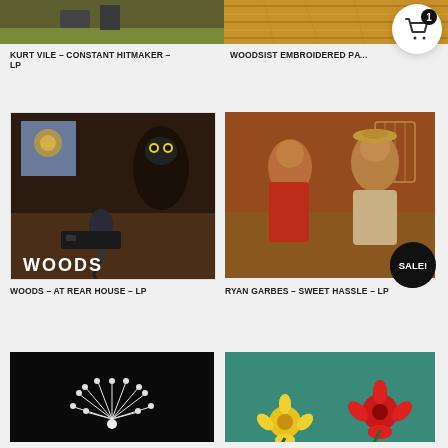[Figure (photo): Partial top crop of Kurt Vile - Constant Hitmaker album product image]
[Figure (photo): Partial top crop of Woodsist Embroidered Patch product image (wood texture)]
KURT VILE – CONSTANT HITMAKER – LP
WOODSIST EMBROIDERED P... (PATCH)
[Figure (photo): Woods - At Rear House LP album cover: dark photo with microphone, owl, lion poster, text WOODS at bottom, OUT OF PRINT badge]
[Figure (photo): Ryan Garbes - Sweet Hassle LP album cover: vintage photo of couple, woman in red, man in straw hat, SALE! badge]
WOODS – AT REAR HOUSE – LP
RYAN GARBES – SWEET HASSLE – LP
[Figure (photo): Bottom left partial product image: black background with white flower/dandelion]
[Figure (photo): Bottom right partial product image: teal background with yellow and red flowers]